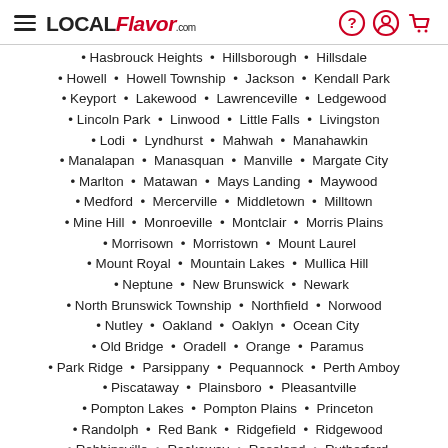LOCAL Flavor.com
Hasbrouck Heights • Hillsborough • Hillsdale
Howell • Howell Township • Jackson • Kendall Park
Keyport • Lakewood • Lawrenceville • Ledgewood
Lincoln Park • Linwood • Little Falls • Livingston
Lodi • Lyndhurst • Mahwah • Manahawkin
Manalapan • Manasquan • Manville • Margate City
Marlton • Matawan • Mays Landing • Maywood
Medford • Mercerville • Middletown • Milltown
Mine Hill • Monroeville • Montclair • Morris Plains
Morrisown • Morristown • Mount Laurel
Mount Royal • Mountain Lakes • Mullica Hill
Neptune • New Brunswick • Newark
North Brunswick Township • Northfield • Norwood
Nutley • Oakland • Oaklyn • Ocean City
Old Bridge • Oradell • Orange • Paramus
Park Ridge • Parsippany • Pequannock • Perth Amboy
Piscataway • Plainsboro • Pleasantville
Pompton Lakes • Pompton Plains • Princeton
Randolph • Red Bank • Ridgefield • Ridgewood
Robbinsville • Rockaway • Roseland • Rutherford
Sewell • Shrewsbury • Sicklerville • Somers Point